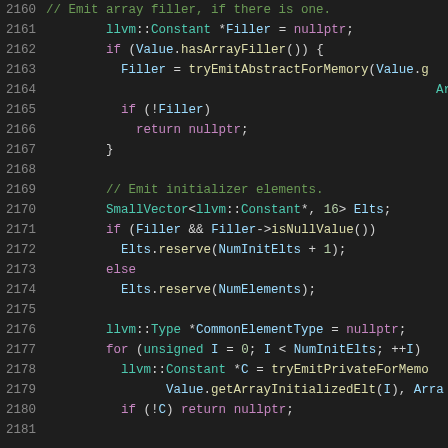[Figure (screenshot): Source code viewer showing C++ code lines 2160-2181 with syntax highlighting on dark background. Code relates to LLVM array initialization with comments, variable declarations, and control flow.]